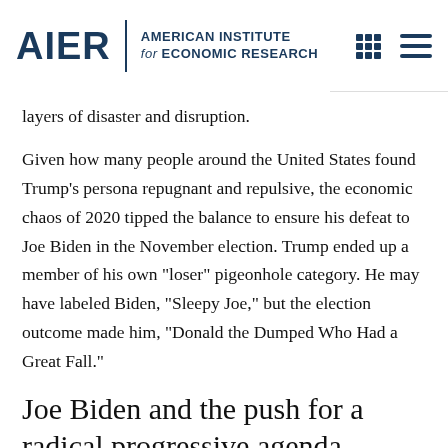AIER | AMERICAN INSTITUTE for ECONOMIC RESEARCH
layers of disaster and disruption.
Given how many people around the United States found Trump’s persona repugnant and repulsive, the economic chaos of 2020 tipped the balance to ensure his defeat to Joe Biden in the November election. Trump ended up a member of his own “loser” pigeonhole category. He may have labeled Biden, “Sleepy Joe,” but the election outcome made him, “Donald the Dumped Who Had a Great Fall.”
Joe Biden and the push for a radical progressive agenda
Unfortunately, the Biden administration offers no “truth and light” for friends of freedom. His agenda is merely to